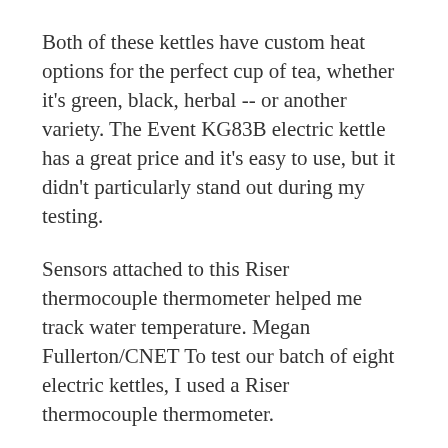Both of these kettles have custom heat options for the perfect cup of tea, whether it's green, black, herbal -- or another variety. The Event KG83B electric kettle has a great price and it's easy to use, but it didn't particularly stand out during my testing.
Sensors attached to this Riser thermocouple thermometer helped me track water temperature. Megan Fullerton/CNET To test our batch of eight electric kettles, I used a Riser thermocouple thermometer.
[Figure (photo): Image placeholder with alt text: kettles kettle hobbs russell tea cup quiet electric open boil models noise loud flash updated perfect. Source attribution: (Source: www.idealhome.co.uk)]
For the boil test, I watched the thermocouple display until the sensor tracking the temperature inside each kettle reached 200 degrees. Fahrenheit it